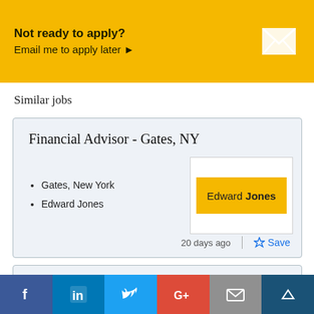[Figure (infographic): Yellow banner with 'Not ready to apply?' text and envelope icon]
Similar jobs
Financial Advisor - Gates, NY
• Gates, New York
• Edward Jones
20 days ago  Save
Financial Advisor - Brooklyn, NY
[Figure (infographic): Social sharing bar with Facebook, LinkedIn, Twitter, Google+, Email, and crown/bookmark icons]